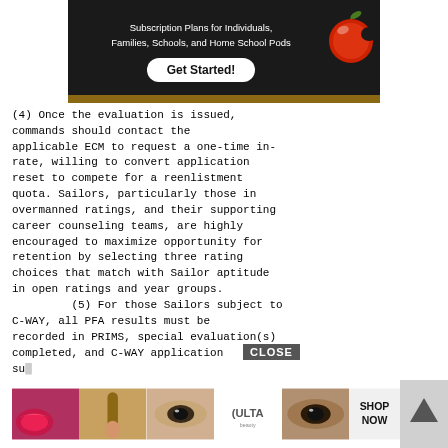[Figure (photo): Advertisement banner with dark/chalkboard background showing text 'Subscription Plans for Individuals, Families, Schools, and Home School Pods' with a 'Get Started!' button and a red apple graphic]
(4) Once the evaluation is issued, commands should contact the applicable ECM to request a one-time in-rate, willing to convert application reset to compete for a reenlistment quota. Sailors, particularly those in overmanned ratings, and their supporting career counseling teams, are highly encouraged to maximize opportunity for retention by selecting three rating choices that match with Sailor aptitude in open ratings and year groups.
(5) For those Sailors subject to C-WAY, all PFA results must be recorded in PRIMS, special evaluation(s) completed, and C-WAY application su... de... An...
[Figure (photo): Bottom advertisement banner showing beauty/makeup related images and ULTA logo with 'SHOP NOW' call to action and a CLOSE button]